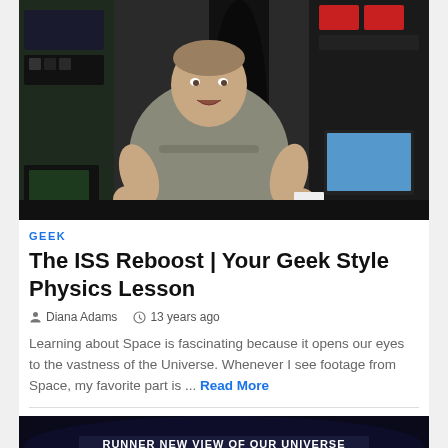[Figure (photo): Astronaut inside the International Space Station, floating in front of equipment panels, laptops, and gear, wearing a grey t-shirt and talking to the camera.]
GEEK
The ISS Reboost | Your Geek Style Physics Lesson
Diana Adams   13 years ago
Learning about Space is fascinating because it opens our eyes to the vastness of the Universe. Whenever I see footage from Space, my favorite part is ...  Read More
[Figure (photo): Partial image at the bottom of the page showing a dark space/astronomy related image with partial text visible.]